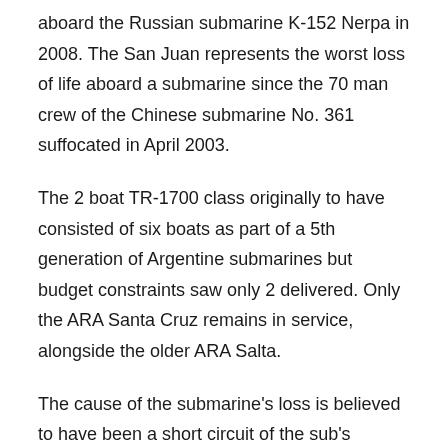aboard the Russian submarine K-152 Nerpa in 2008. The San Juan represents the worst loss of life aboard a submarine since the 70 man crew of the Chinese submarine No. 361 suffocated in April 2003.
The 2 boat TR-1700 class originally to have consisted of six boats as part of a 5th generation of Argentine submarines but budget constraints saw only 2 delivered. Only the ARA Santa Cruz remains in service, alongside the older ARA Salta.
The cause of the submarine's loss is believed to have been a short circuit of the sub's batteries after water entered its snorkel. San Juan had reported this issue and was heading home for repairs when communications were lost and the sub disappeared. Investigations into the subs loss continue. Ocean Infinity will be rewarded with $7.5 million payment,